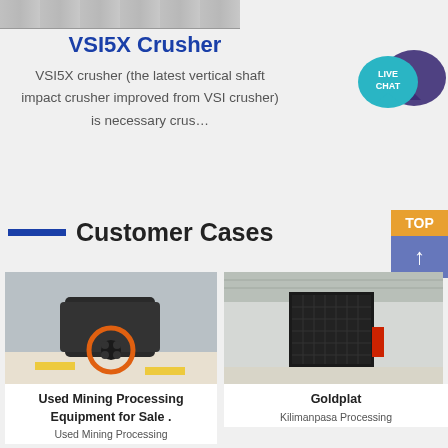[Figure (photo): Partial view of industrial equipment/machinery from above, gray background]
VSI5X Crusher
VSI5X crusher (the latest vertical shaft impact crusher improved from VSI crusher) is necessary crus…
[Figure (illustration): Live Chat speech bubble icon in teal color with white text LIVE CHAT and a larger dark purple speech bubble behind]
Customer Cases
[Figure (photo): Used mining processing equipment (impact crusher) in industrial setting with orange/yellow safety markings on floor]
Used Mining Processing Equipment for Sale .
Used Mining Processing
[Figure (photo): Goldplat equipment in large industrial warehouse with yellow safety circle markings on floor]
Goldplat
Kilimanpasa Processing